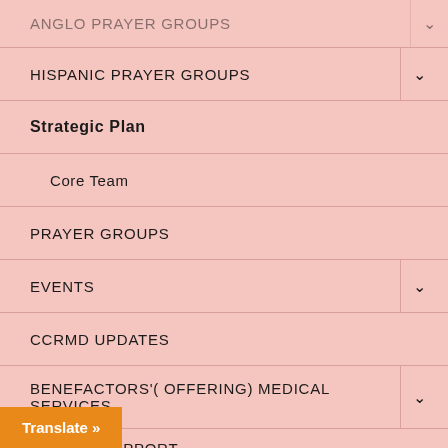ANGLO PRAYER GROUPS (partially visible, with chevron)
HISPANIC PRAYER GROUPS (with chevron)
Strategic Plan (bold)
Core Team
PRAYER GROUPS
EVENTS (with chevron)
CCRMD UPDATES
BENEFACTORS'( OFFERING) MEDICAL SERVICES (with chevron)
DONATE/SUPPORT (partially visible)
Translate »